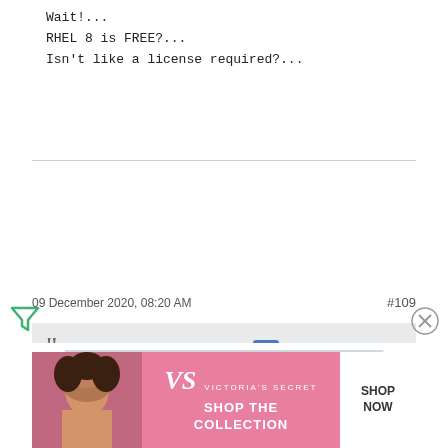Wait!...
RHEL 8 is FREE?...
Isn't like a license required?...
nomadewolf
Senior Member
Join Date: Mar 2013    Posts: 910
09 December 2020, 08:20 AM
#109
Originally posted by Sonadow
Then there is fundamentally no change in CentOS beyond switching from fixed release to rolling. Just like
[Figure (screenshot): Victoria's Secret advertisement banner with model, VS logo, shop the collection text, and shop now button]